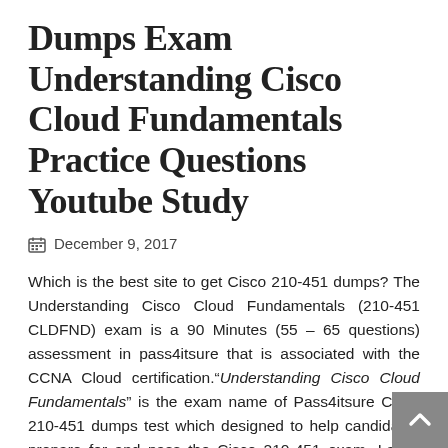Dumps Exam Understanding Cisco Cloud Fundamentals Practice Questions Youtube Study
December 9, 2017
Which is the best site to get Cisco 210-451 dumps? The Understanding Cisco Cloud Fundamentals (210-451 CLDFND) exam is a 90 Minutes (55 – 65 questions) assessment in pass4itsure that is associated with the CCNA Cloud certification."Understanding Cisco Cloud Fundamentals" is the exam name of Pass4itsure Cisco 210-451 dumps test which designed to help candidates prepare for and pass the Cisco 210-451 exam. Latest Cisco CLDFND 210-451 dumps exam Understanding